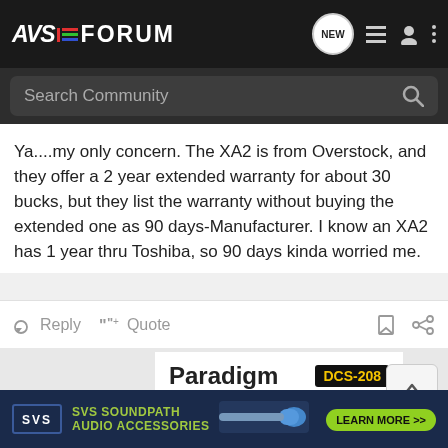AVSForum navigation bar with search community
Ya....my only concern. The XA2 is from Overstock, and they offer a 2 year extended warranty for about 30 bucks, but they list the warranty without buying the extended one as 90 days-Manufacturer. I know an XA2 has 1 year thru Toshiba, so 90 days kinda worried me.
Reply   Quote
[Figure (infographic): Paradigm DCS-208 advertisement: Performance you can hear with a look that all but disappears]
[Figure (infographic): SVS SOUNDPATH AUDIO ACCESSORIES - LEARN MORE >> banner advertisement]